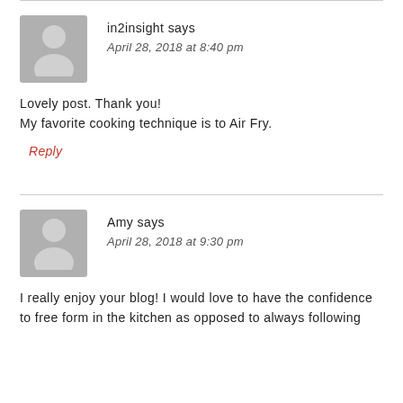in2insight says
April 28, 2018 at 8:40 pm
Lovely post. Thank you!
My favorite cooking technique is to Air Fry.
Reply
Amy says
April 28, 2018 at 9:30 pm
I really enjoy your blog! I would love to have the confidence to free form in the kitchen as opposed to always following